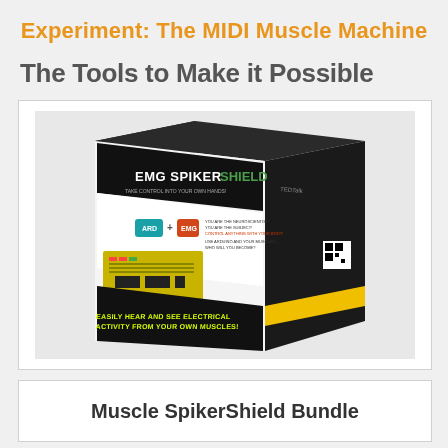Experiment: The MIDI Muscle Machine
The Tools to Make it Possible
[Figure (photo): Product box for EMG SpikerShield — a black and white box showing an Arduino-based EMG (electromyography) shield kit with circuit board visible on front, text reading 'EMG SPIKERSHIELD — TAKE CONTROL INTO YOUR OWN HANDS!' and 'EASILY HEAR AND SEE ELECTRICAL ACTIVITY FROM YOUR OWN MUSCLES!']
Muscle SpikerShield Bundle